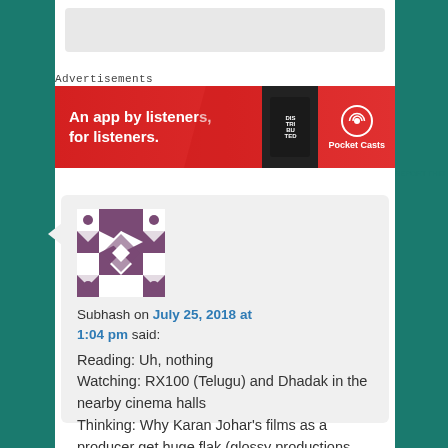[Figure (screenshot): Top white box partial visible at top]
Advertisements
[Figure (photo): Pocket Casts advertisement banner: red background with text 'An app by listeners, for listeners.' and phone image and Pocket Casts logo]
REPORT THIS
[Figure (illustration): Avatar with geometric purple/white diamond pattern]
Subhash on July 25, 2018 at 1:04 pm said:
Reading: Uh, nothing
Watching: RX100 (Telugu) and Dhadak in the nearby cinema halls
Thinking: Why Karan Johar's films as a producer get huge flak (glossy productions,